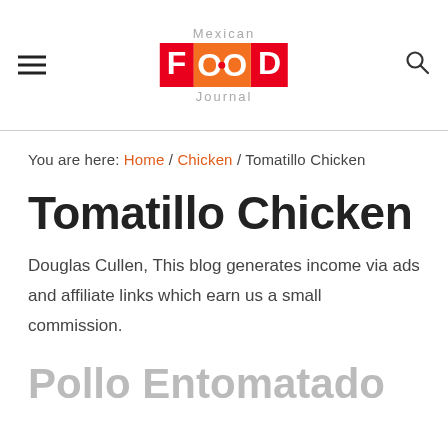Mexican FOOD Journal
You are here: Home / Chicken / Tomatillo Chicken
Tomatillo Chicken
Douglas Cullen, This blog generates income via ads and affiliate links which earn us a small commission.
Pollo Entomatado